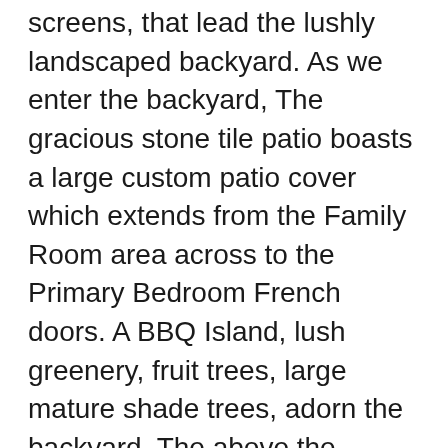screens, that lead the lushly landscaped backyard. As we enter the backyard, The gracious stone tile patio boasts a large custom patio cover which extends from the Family Room area across to the Primary Bedroom French doors. A BBQ Island, lush greenery, fruit trees, large mature shade trees, adorn the backyard. The above the ground spa is in a perfect spot... under the stars, with lots of privacy. Back though the home, down the hallway we find a beautiful secondary bath with stone accent counter and flooring with accent tiles, black framed shower doors surrounding the tub/shower. Down the hall, the adjacent spacious secondary bedrooms, light and bright, ceiling fans, mirrored closet doors in one bedroom and both closets have organizers built in. The Pri...